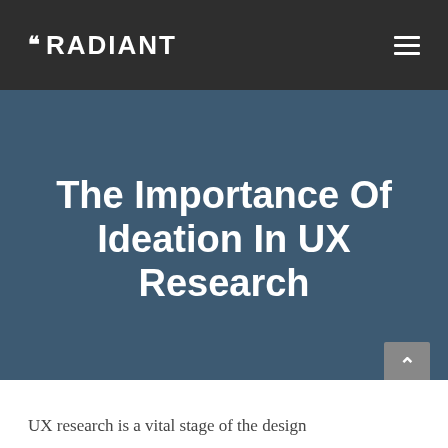RADIANT
The Importance Of Ideation In UX Research
UX research is a vital stage of the design